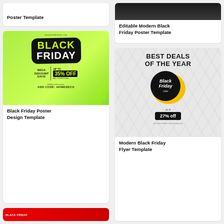Poster Template
[Figure (illustration): Black Friday green gradient poster with BLACK FRIDAY text, MEGA DISCOUNT DAYS, UP TO 35% OFF ALL FURNITURE, ADD CODE: HOMEDECO]
Black Friday Poster Design Template
[Figure (illustration): Dark background Black Friday poster (top cropped image)]
Editable Modern Black Friday Poster Template
[Figure (illustration): Marble texture Black Friday poster: BEST DEALS OF THE YEAR, Black Friday sale badge, up to 27% off, all online clothes and accessories]
Modern Black Friday Flyer Template
[Figure (illustration): Red/dark snippet at bottom left — partial view of another Black Friday template]